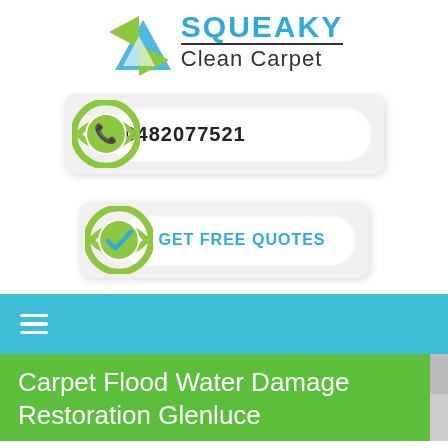[Figure (logo): Squeaky Clean Carpet logo with blue triangle/leaf graphic and company name]
[Figure (infographic): Phone button with green circular icon showing phone handset and number 0482077521]
[Figure (infographic): Get Free Quotes button with green circular checkmark icon]
≡ (hamburger menu navigation bar)
Carpet Flood Water Damage Restoration Glenluce